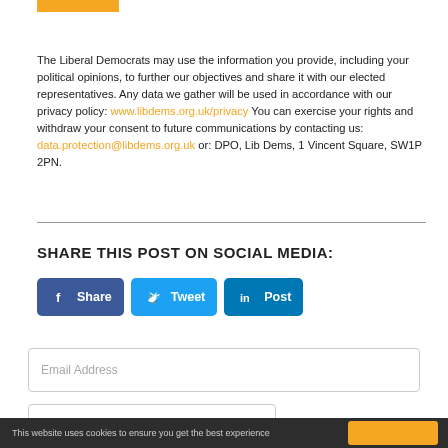[Figure (other): Orange horizontal bar at top]
The Liberal Democrats may use the information you provide, including your political opinions, to further our objectives and share it with our elected representatives. Any data we gather will be used in accordance with our privacy policy: www.libdems.org.uk/privacy You can exercise your rights and withdraw your consent to future communications by contacting us: data.protection@libdems.org.uk or: DPO, Lib Dems, 1 Vincent Square, SW1P 2PN.
SHARE THIS POST ON SOCIAL MEDIA:
[Figure (other): Social media share buttons: Facebook Share, Twitter Tweet, LinkedIn Post]
Email Address
Post code